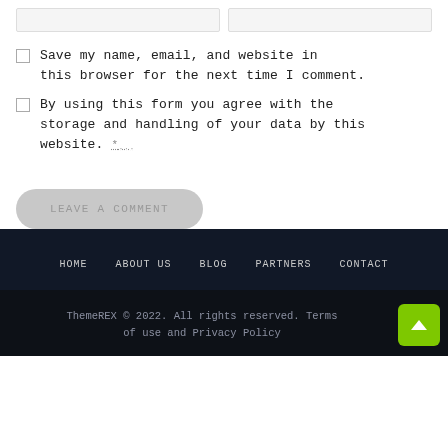Save my name, email, and website in this browser for the next time I comment.
By using this form you agree with the storage and handling of your data by this website. *
LEAVE A COMMENT
HOME  ABOUT US  BLOG  PARTNERS  CONTACT
ThemeREX © 2022. All rights reserved. Terms of use and Privacy Policy